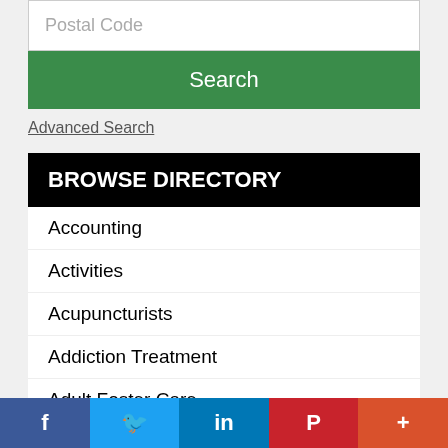Postal Code
Search
Advanced Search
BROWSE DIRECTORY
Accounting
Activities
Acupuncturists
Addiction Treatment
Adult Foster Care
Advertiser Partners
Advertisers Featured
Advertisers Promoted
f  🐦  in  P  +